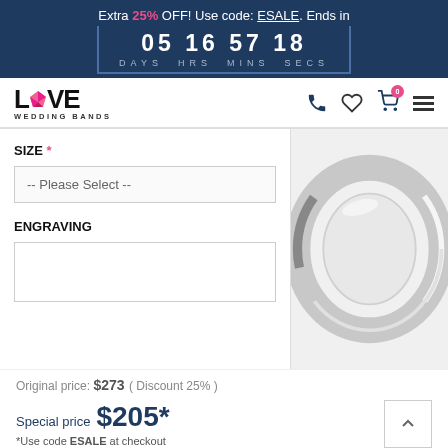Extra 25% OFF! Use code: ESALE. Ends in 05 16 57 18 DAYS HRS MINS SECS
[Figure (logo): Love Wedding Bands logo with pink diamond shape in the word LOVE]
SIZE *
-- Please Select --
ENGRAVING
[Figure (photo): Silver/platinum wedding band ring with polished flat court profile, shown at an angle on a light grey background]
Original price: $273  ( Discount 25% )
Special price $205*
*Use code ESALE at checkout